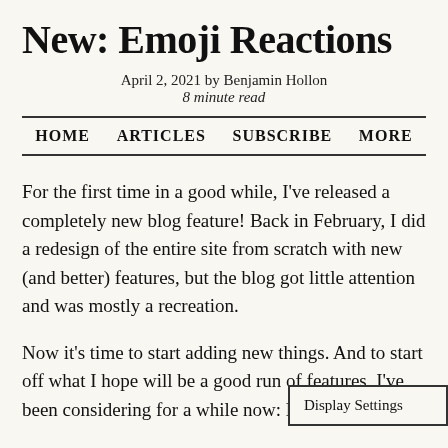New: Emoji Reactions
April 2, 2021 by Benjamin Hollon
8 minute read
HOME   ARTICLES   SUBSCRIBE   MORE
For the first time in a good while, I've released a completely new blog feature! Back in February, I did a redesign of the entire site from scratch with new (and better) features, but the blog got little attention and was mostly a recreation.
Now it's time to start adding new things. And to start off what I hope will be a good run of features, I've been considering for a while now: Emoji Reactions
Display Settings